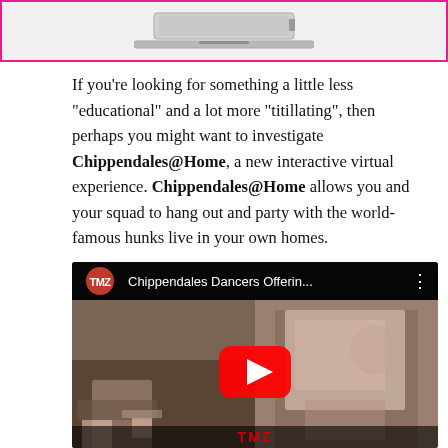[Figure (photo): Partial top image showing a laptop within a pink/magenta bordered box]
If you’re looking for something a little less “educational” and a lot more “titillating”, then perhaps you might want to investigate Chippendales@Home, a new interactive virtual experience. Chippendales@Home allows you and your squad to hang out and party with the world-famous hunks live in your own homes.
[Figure (screenshot): YouTube video embed with TMZ logo showing 'Chippendales Dancers Offerin...' with a red play button overlay on a video thumbnail split in two showing male dancers]